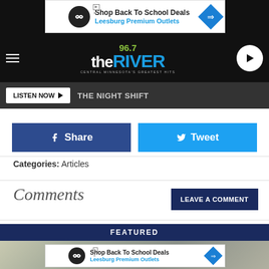[Figure (screenshot): Top advertisement banner: Shop Back To School Deals - Leesburg Premium Outlets]
[Figure (logo): 96.7 The River radio station logo with hamburger menu and play button]
[Figure (screenshot): LISTEN NOW button with THE NIGHT SHIFT text on dark nav bar]
[Figure (screenshot): Facebook Share and Twitter Tweet social sharing buttons]
Categories: Articles
Comments
[Figure (screenshot): LEAVE A COMMENT button]
FEATURED
[Figure (screenshot): Bottom advertisement banner: Shop Back To School Deals - Leesburg Premium Outlets]